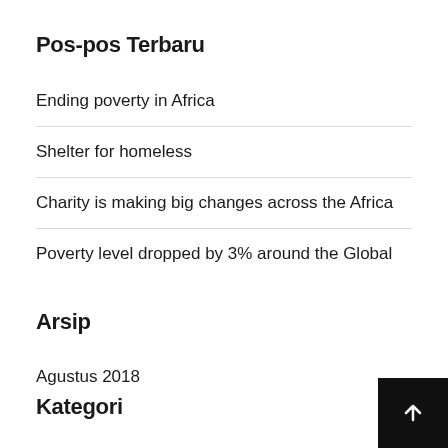Pos-pos Terbaru
Ending poverty in Africa
Shelter for homeless
Charity is making big changes across the Africa
Poverty level dropped by 3% around the Global
Arsip
Agustus 2018
Kategori